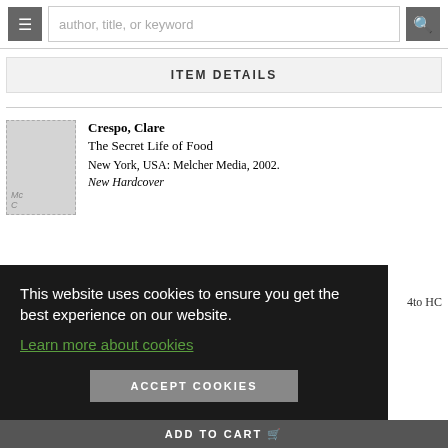author, title, or keyword
ITEM DETAILS
Crespo, Clare
The Secret Life of Food
New York, USA: Melcher Media, 2002.
New Hardcover
4to HC
This website uses cookies to ensure you get the best experience on our website.
Learn more about cookies
ACCEPT COOKIES
ADD TO CART